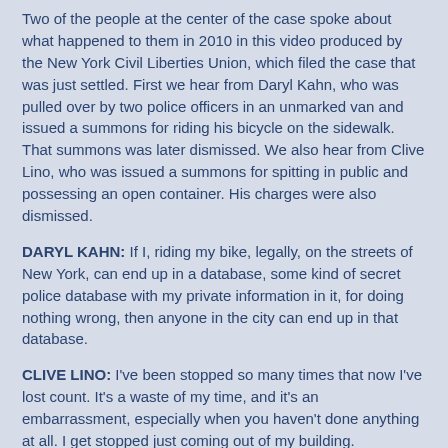Two of the people at the center of the case spoke about what happened to them in 2010 in this video produced by the New York Civil Liberties Union, which filed the case that was just settled. First we hear from Daryl Kahn, who was pulled over by two police officers in an unmarked van and issued a summons for riding his bicycle on the sidewalk. That summons was later dismissed. We also hear from Clive Lino, who was issued a summons for spitting in public and possessing an open container. His charges were also dismissed.
DARYL KAHN: If I, riding my bike, legally, on the streets of New York, can end up in a database, some kind of secret police database with my private information in it, for doing nothing wrong, then anyone in the city can end up in that database.
CLIVE LINO: I've been stopped so many times that now I've lost count. It's a waste of my time, and it's an embarrassment, especially when you haven't done anything at all. I get stopped just coming out of my building. [inaudible] and intimidated, harassed. I feel—I get, like, kind of on edge now when I see officers. I feel like I'm going to be stopped, like a hostage in my own neighborhood.